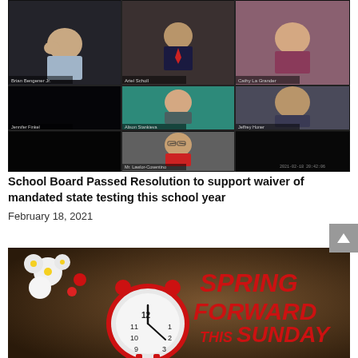[Figure (photo): Screenshot of a school board Zoom meeting with 7 participants in a grid layout: top row shows three people (man with glasses, man in suit, woman with glasses), middle row shows three people (woman with blonde hair, woman facing forward with teal background, heavyset man), bottom center shows a man with glasses and beard in a red shirt.]
School Board Passed Resolution to support waiver of mandated state testing this school year
February 18, 2021
[Figure (photo): Promotional image showing a red alarm clock with spring flowers on the left, and bold red text on the right reading 'SPRING FORWARD THIS SUNDAY' on a dark background.]